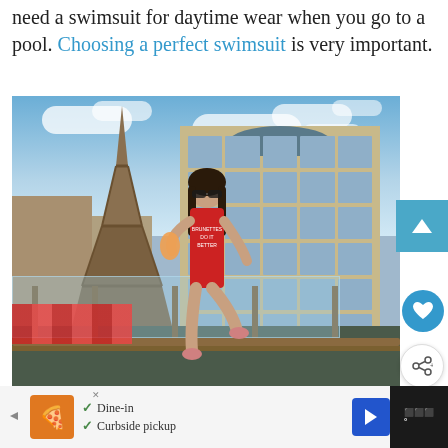need a swimsuit for daytime wear when you go to a pool. Choosing a perfect swimsuit is very important.
[Figure (photo): A woman wearing a red swimsuit sitting on a railing of a rooftop deck with the Paris Las Vegas hotel and Eiffel Tower replica in the background, along with other Las Vegas Strip buildings. She is holding a drink and wearing sunglasses.]
Dine-in   Curbside pickup